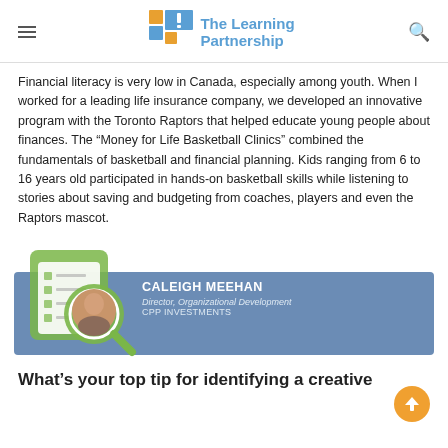The Learning Partnership
Financial literacy is very low in Canada, especially among youth. When I worked for a leading life insurance company, we developed an innovative program with the Toronto Raptors that helped educate young people about finances. The “Money for Life Basketball Clinics” combined the fundamentals of basketball and financial planning. Kids ranging from 6 to 16 years old participated in hands-on basketball skills while listening to stories about saving and budgeting from coaches, players and even the Raptors mascot.
[Figure (photo): Profile card with photo of Caleigh Meehan, Director Organizational Development at CPP Investments, with a magnifying glass illustration overlay on a blue background banner.]
What’s your top tip for identifying a creative